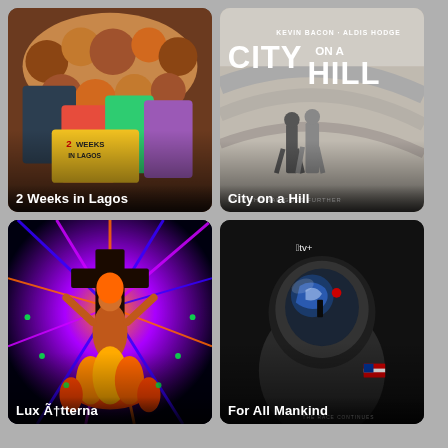[Figure (photo): Movie poster for '2 Weeks in Lagos' showing a group of smiling people with a yellow sign in the foreground]
[Figure (photo): TV show poster for 'City on a Hill' showing two people walking in a grey urban environment with large title text]
[Figure (photo): Movie poster for 'Lux Aeterna' showing a woman in flames with psychedelic colorful radiant light background]
[Figure (photo): TV show poster for 'For All Mankind' on Apple TV+ showing an astronaut helmet with Earth reflected in the visor]